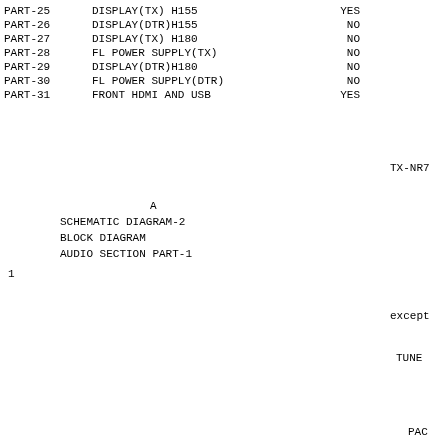| PART | DESCRIPTION | STATUS |
| --- | --- | --- |
| PART-25 | DISPLAY(TX) H155 | YES |
| PART-26 | DISPLAY(DTR)H155 | NO |
| PART-27 | DISPLAY(TX) H180 | NO |
| PART-28 | FL POWER SUPPLY(TX) | NO |
| PART-29 | DISPLAY(DTR)H180 | NO |
| PART-30 | FL POWER SUPPLY(DTR) | NO |
| PART-31 | FRONT HDMI AND USB | YES |
TX-NR7
A
SCHEMATIC DIAGRAM-2
BLOCK DIAGRAM
AUDIO SECTION PART-1
1
except
TUNE
PAC